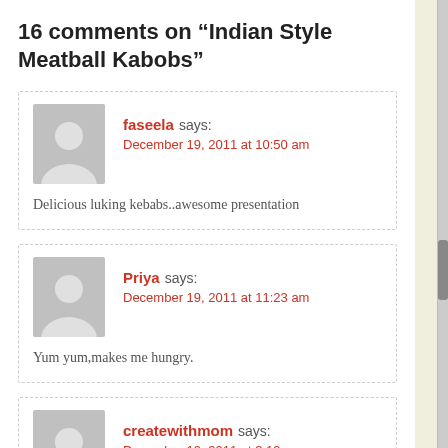16 comments on “Indian Style Meatball Kabobs”
faseela says: December 19, 2011 at 10:50 am
Delicious luking kebabs..awesome presentation
Priya says: December 19, 2011 at 11:23 am
Yum yum,makes me hungry.
createwithmom says: December 19, 2011 at 3:19 pm